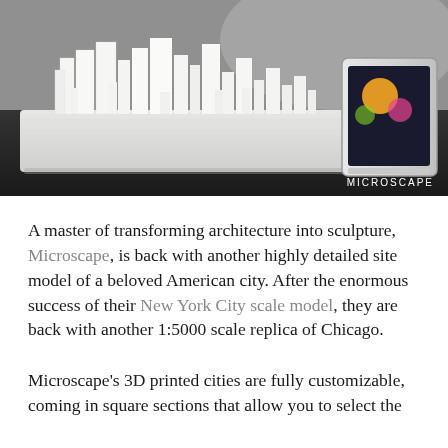[Figure (photo): A white 3D printed scale model of a city skyline with tall buildings, placed on a dark surface next to a tablet device. A watermark reads 'MICROSCAPE' in the bottom right corner.]
A master of transforming architecture into sculpture, Microscape, is back with another highly detailed site model of a beloved American city. After the enormous success of their New York City scale model, they are back with another 1:5000 scale replica of Chicago.
Microscape's 3D printed cities are fully customizable, coming in square sections that allow you to select the